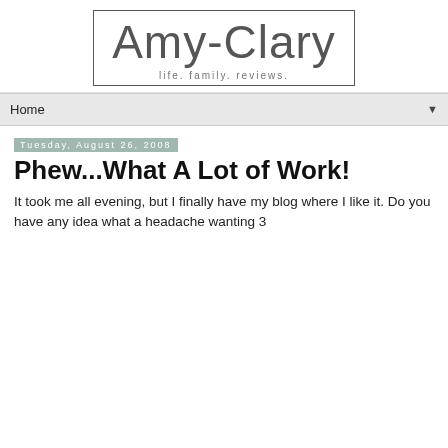[Figure (logo): Amy-Clary blog logo with border box and tagline 'life. family. reviews.']
Home ▼
Tuesday, August 26, 2008
Phew...What A Lot of Work!
It took me all evening, but I finally have my blog where I like it. Do you have any idea what a headache wanting 3